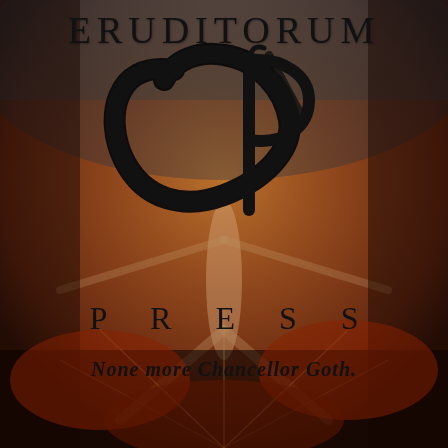[Figure (logo): Eruditorum Press logo page with a dark painterly background (William Blake-style figure with outstretched arms/compass), overlaid with the stylized 'EP' monogram in black calligraphy, the word ERUDITORUM at top, PRESS in spaced capitals, and the tagline 'None more Chancellor Goth.' in bold italic below.]
ERUDITORUM
PRESS
None more Chancellor Goth.